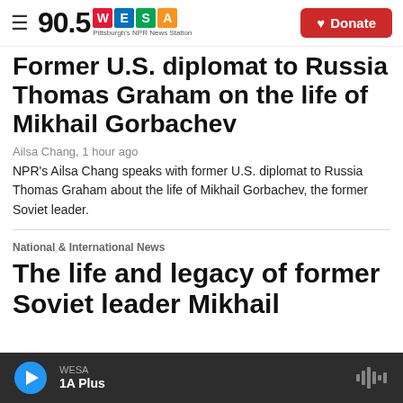90.5 WESA Pittsburgh's NPR News Station | Donate
Former U.S. diplomat to Russia Thomas Graham on the life of Mikhail Gorbachev
Ailsa Chang, 1 hour ago
NPR's Ailsa Chang speaks with former U.S. diplomat to Russia Thomas Graham about the life of Mikhail Gorbachev, the former Soviet leader.
National & International News
The life and legacy of former Soviet leader Mikhail
WESA 1A Plus